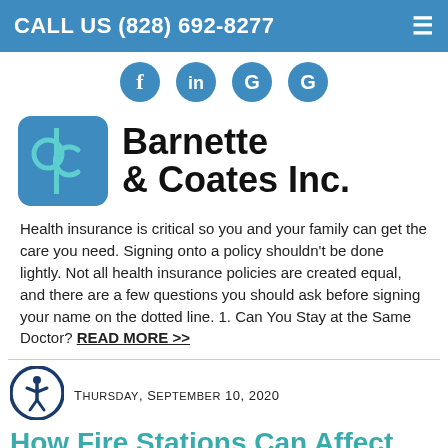CALL US (828) 692-8277
[Figure (logo): Social media icons: Facebook, LinkedIn, Google, Google]
[Figure (logo): Barnette & Coates Inc. company logo with bc monogram in blue square]
Health insurance is critical so you and your family can get the care you need. Signing onto a policy shouldn't be done lightly. Not all health insurance policies are created equal, and there are a few questions you should ask before signing your name on the dotted line. 1. Can You Stay at the Same Doctor? READ MORE >>
[Figure (logo): Accessibility icon — person in circle]
Thursday, September 10, 2020
How Fire Stations Can Affect